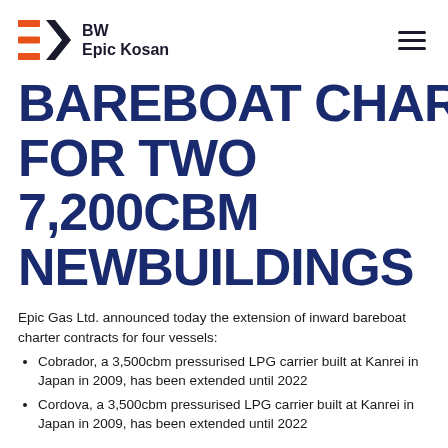[Figure (logo): BW Epic Kosan logo with orange EK symbol and dark text]
BAREBOAT CHARTERS FOR TWO 7,200CBM NEWBUILDINGS
Epic Gas Ltd. announced today the extension of inward bareboat charter contracts for four vessels:
Cobrador, a 3,500cbm pressurised LPG carrier built at Kanrei in Japan in 2009, has been extended until 2022
Cordova, a 3,500cbm pressurised LPG carrier built at Kanrei in Japan in 2009, has been extended until 2022